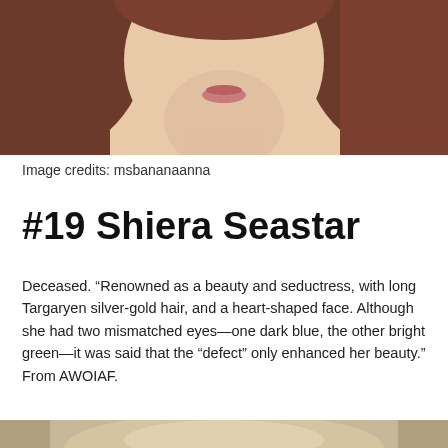[Figure (photo): Cropped photo of a person with brown/auburn hair, showing lower face and neck area, white background below]
Image credits: msbananaanna
#19 Shiera Seastar
Deceased. “Renowned as a beauty and seductress, with long Targaryen silver-gold hair, and a heart-shaped face. Although she had two mismatched eyes—one dark blue, the other bright green—it was said that the “defect” only enhanced her beauty.” From AWOIAF.
[Figure (photo): Top portion of another person photo, showing hair/top of head, partially cropped at bottom of page]